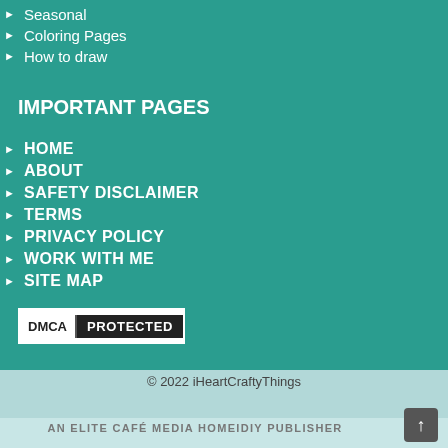Seasonal
Coloring Pages
How to draw
IMPORTANT PAGES
HOME
ABOUT
SAFETY DISCLAIMER
TERMS
PRIVACY POLICY
WORK WITH ME
SITE MAP
[Figure (logo): DMCA PROTECTED badge with white DMCA text on left and PROTECTED text on dark right background]
© 2022 iHeartCraftyThings
AN ELITE CAFÉ MEDIA HOMEIDIY PUBLISHER